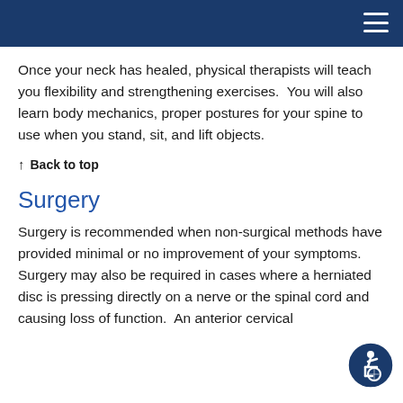Once your neck has healed, physical therapists will teach you flexibility and strengthening exercises.  You will also learn body mechanics, proper postures for your spine to use when you stand, sit, and lift objects.
↑ Back to top
Surgery
Surgery is recommended when non-surgical methods have provided minimal or no improvement of your symptoms.  Surgery may also be required in cases where a herniated disc is pressing directly on a nerve or the spinal cord and causing loss of function.  An anterior cervical